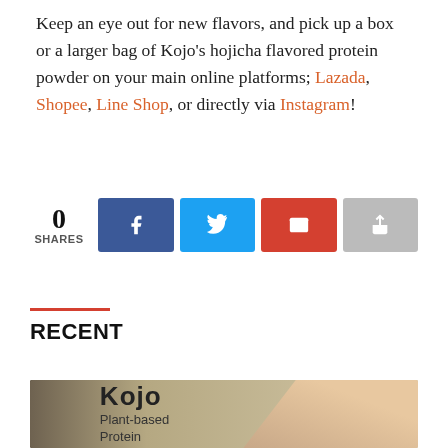Keep an eye out for new flavors, and pick up a box or a larger bag of Kojo's hojicha flavored protein powder on your main online platforms; Lazada, Shopee, Line Shop, or directly via Instagram!
[Figure (infographic): Social share widget showing 0 shares with Facebook (blue), Twitter (cyan), Email (red), and generic share (grey) buttons]
RECENT
[Figure (photo): Photo of Kojo Plant-based Protein product packaging with a hand reaching towards it, shown against a mixed background]